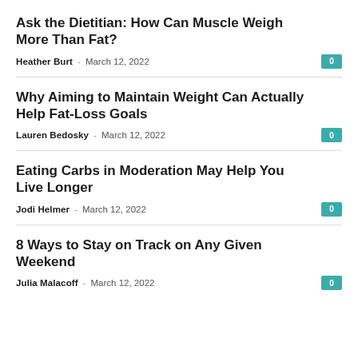Ask the Dietitian: How Can Muscle Weigh More Than Fat?
Heather Burt – March 12, 2022
Why Aiming to Maintain Weight Can Actually Help Fat-Loss Goals
Lauren Bedosky – March 12, 2022
Eating Carbs in Moderation May Help You Live Longer
Jodi Helmer – March 12, 2022
8 Ways to Stay on Track on Any Given Weekend
Julia Malacoff – March 12, 2022